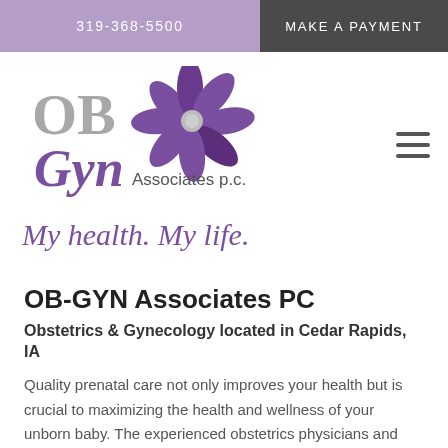319-368-5500   MAKE A PAYMENT
[Figure (logo): OB-GYN Associates p.c. logo with purple flower and stylized text, tagline: My health. My life.]
OB-GYN Associates PC
Obstetrics & Gynecology located in Cedar Rapids, IA
Quality prenatal care not only improves your health but is crucial to maximizing the health and wellness of your unborn baby. The experienced obstetrics physicians and nurse practitioners at OB-GYN Associates PC, located in